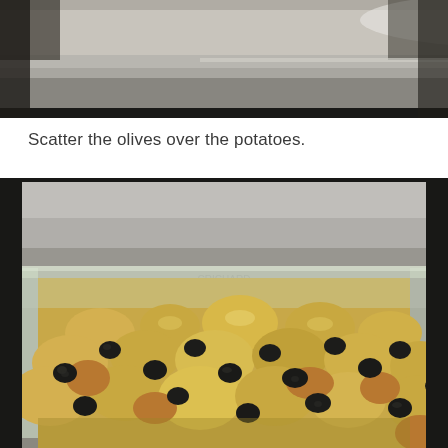[Figure (photo): Top portion of a photo showing a stainless steel oven/appliance interior with white background above it]
Scatter the olives over the potatoes.
[Figure (photo): A glass baking dish containing chopped yellow/golden potatoes mixed with black olives scattered throughout, sitting in front of a stainless steel oven]